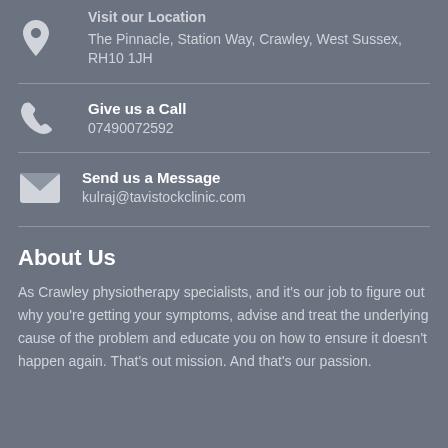Visit our Location
The Pinnacle, Station Way, Crawley, West Sussex, RH10 1JH
Give us a Call
07490072592
Send us a Message
kulraj@tavistockclinic.com
About Us
As Crawley physiotherapy specialists, and it's our job to figure out why you're getting your symptoms, advise and treat the underlying cause of the problem and educate you on how to ensure it doesn't happen again. That's out mission. And that's our passion.